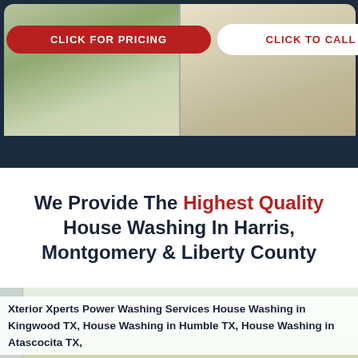[Figure (photo): Before and after comparison of house washing — left side shows dirty/algae-covered siding, right side shows clean siding after pressure washing]
CLICK FOR PRICING
CLICK TO CALL
We Provide The Highest Quality House Washing In Harris, Montgomery & Liberty County
[Figure (map): Google Maps view showing service area in Harris, Montgomery & Liberty County, Texas]
Xterior Xperts Power Washing Services House Washing in Kingwood TX, House Washing in Humble TX, House Washing in Atascocita TX,